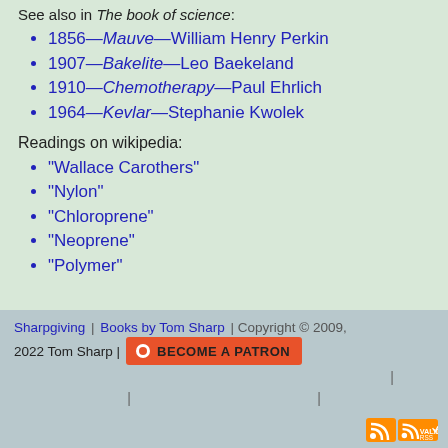See also in The book of science:
1856—Mauve—William Henry Perkin
1907—Bakelite—Leo Baekeland
1910—Chemotherapy—Paul Ehrlich
1964—Kevlar—Stephanie Kwolek
Readings on wikipedia:
"Wallace Carothers"
"Nylon"
"Chloroprene"
"Neoprene"
"Polymer"
Sharpgiving | Books by Tom Sharp | Copyright © 2009, 2022 Tom Sharp | BECOME A PATRON | |